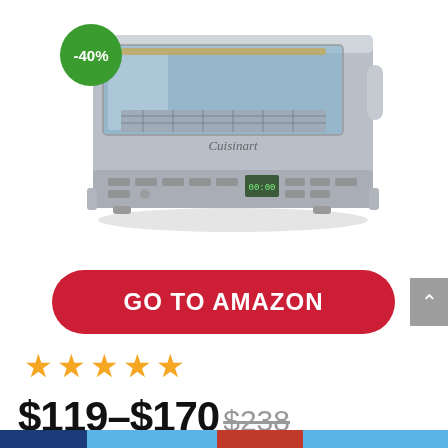[Figure (photo): Cuisinart stainless steel toaster oven with open door showing interior rack, digital display, and control panel. Product has a -40% discount badge in green on the upper left.]
GO TO AMAZON
★★★★★
$119–$170 $238